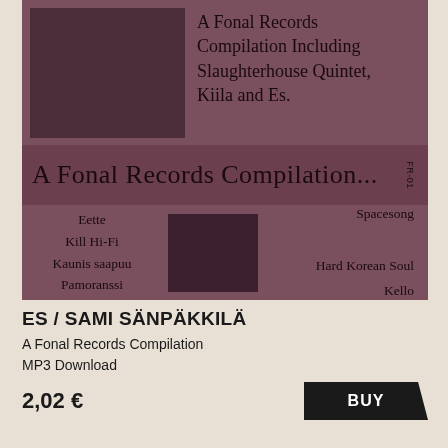[Figure (photo): Album cover image for 'A Fonal Records Compilation' by Es / Sami Sänpäkkilä. Dark mauve/purple toned cover with text listing tracks and artist names including Slaughterhouse Quintet, Kiila and Es. Track list shows: Eette, Kill Hi-Fi, Kaunis saapuu, Pamoranssi on left; Spacesong, Hard Korean Soul, Kello on right. Center text reads 'A Fonal Records Compilation...' with catalog number FR-01.]
ES / SAMI SÄNPÄKKILÄ
A Fonal Records Compilation
MP3 Download
2,02 €
BUY